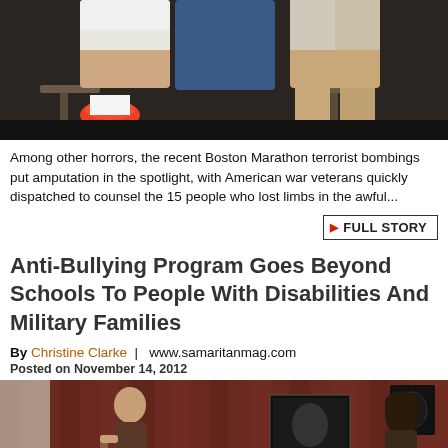[Figure (photo): Photo showing legs of people seated on stools/chairs, one person appears to have a prosthetic limb]
Among other horrors, the recent Boston Marathon terrorist bombings put amputation in the spotlight, with American war veterans quickly dispatched to counsel the 15 people who lost limbs in the awful...
FULL STORY
Anti-Bullying Program Goes Beyond Schools To People With Disabilities And Military Families
By Christine Clarke  |  www.samaritanmag.com
Posted on November 14, 2012
[Figure (photo): Photo of a stage presentation with a man playing guitar on the left, a display/poster in the center, and a woman on the right, in front of dark curtains]